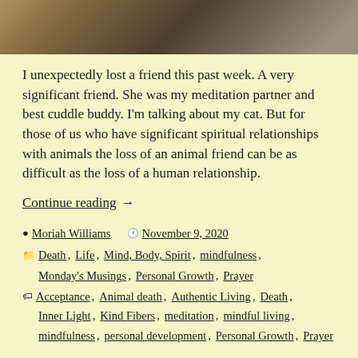[Figure (photo): Close-up blurred photo of a cat, showing fur texture in muted brown and grey tones]
I unexpectedly lost a friend this past week. A very significant friend. She was my meditation partner and best cuddle buddy. I'm talking about my cat. But for those of us who have significant spiritual relationships with animals the loss of an animal friend can be as difficult as the loss of a human relationship.
Continue reading →
By Moriah Williams  November 9, 2020
Categories: Death, Life, Mind, Body, Spirit, mindfulness, Monday's Musings, Personal Growth, Prayer
Tags: Acceptance, Animal death, Authentic Living, Death, Inner Light, Kind Fibers, meditation, mindful living, mindfulness, personal development, Personal Growth, Prayer